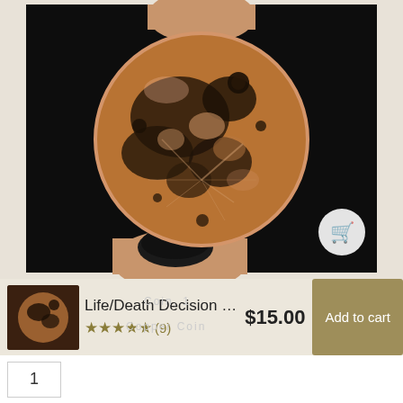[Figure (photo): Close-up photo of a copper coin with moon surface engraving held between two fingers with black nail polish against a black background. A circular cart button is visible in the bottom right corner.]
[Figure (photo): Small thumbnail image of the copper coin product.]
Life/Death Decision Ma...
★★★★★ (9)
$15.00
Add to cart
1